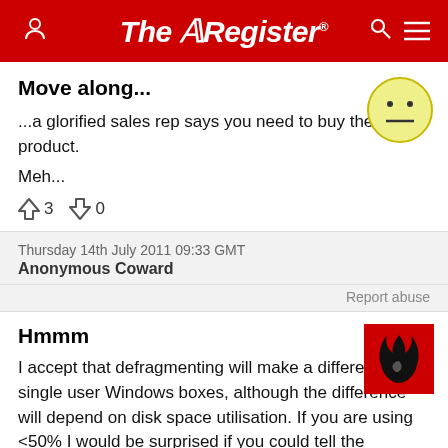The Register
Move along...
...a glorified sales rep says you need to buy their product.
Meh...
↑3  ↓0
Thursday 14th July 2011 09:33 GMT
Anonymous Coward
Report abuse
Hmmm
I accept that defragmenting will make a difference to single user Windows boxes, although the difference will depend on disk space utilisation. If you are using <50% I would be surprised if you could tell the difference - - if it is >90% it will make a big difference